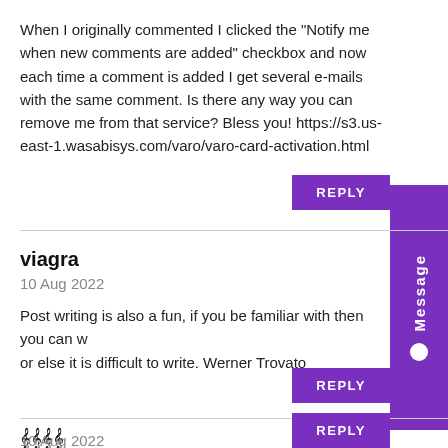When I originally commented I clicked the "Notify me when new comments are added" checkbox and now each time a comment is added I get several e-mails with the same comment. Is there any way you can remove me from that service? Bless you! https://s3.us-east-1.wasabisys.com/varo/varo-card-activation.html
REPLY
viagra
10 Aug 2022
Post writing is also a fun, if you be familiar with then you can w or else it is difficult to write. Werner Trovato
REPLY
𝄞𝄞𝄞𝄞
10 Aug 2022
แแแแแแแแแแแแแแแแแแแแ- แแแ https://aslust.com/videos/390/sofa-sex/
REPLY